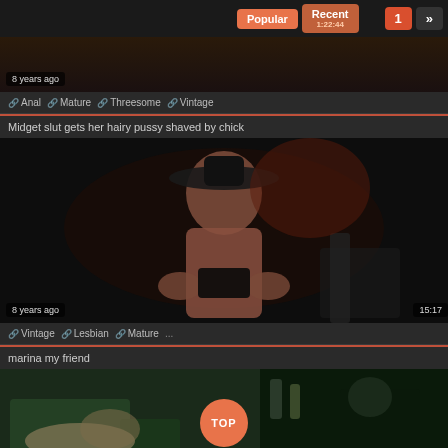[Figure (screenshot): Top navigation bar with Popular, Recent, page number 1 and arrow buttons on dark background]
[Figure (screenshot): Video thumbnail strip at top showing partial image with '8 years ago' badge]
Anal  Mature  Threesome  Vintage
Midget slut gets her hairy pussy shaved by chick
[Figure (screenshot): Video thumbnail of woman in vintage scene, '8 years ago' badge bottom left, '15:17' duration badge bottom right]
Vintage  Lesbian  Mature  ...
marina my friend
[Figure (screenshot): Video thumbnail at bottom with TOP button overlay circle]
TOP